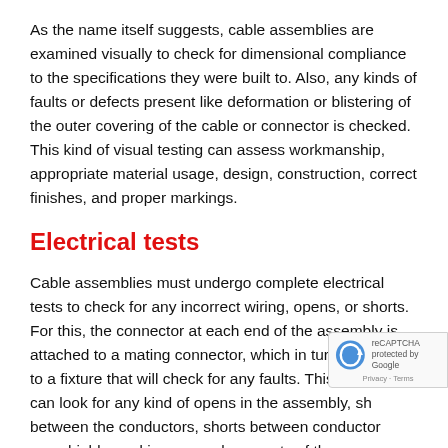As the name itself suggests, cable assemblies are examined visually to check for dimensional compliance to the specifications they were built to. Also, any kinds of faults or defects present like deformation or blistering of the outer covering of the cable or connector is checked. This kind of visual testing can assess workmanship, appropriate material usage, design, construction, correct finishes, and proper markings.
Electrical tests
Cable assemblies must undergo complete electrical tests to check for any incorrect wiring, opens, or shorts. For this, the connector at each end of the assembly is attached to a mating connector, which in turn is attached to a fixture that will check for any faults. This connector can look for any kind of opens in the assembly, shorts between the conductors, shorts between conductors and shields, and improper placements of the components.